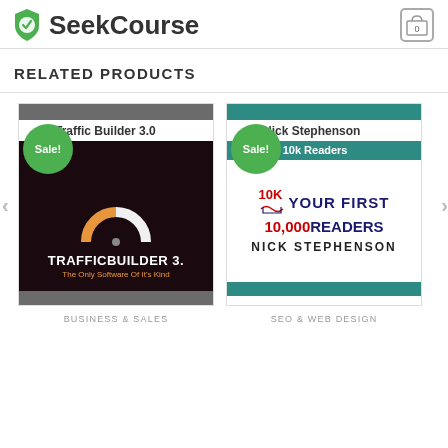SeekCourse
RELATED PRODUCTS
[Figure (screenshot): Product card for Traffic Builder 3.0 with Sale badge and dark themed product image]
[Figure (screenshot): Product card for Nick Stephenson Your First 10k Readers with Sale badge and book cover image]
BUSINESS & SALES
SEO & WEB DESIGN